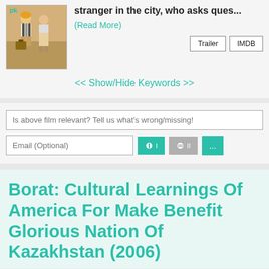[Figure (photo): PK movie poster showing two people standing]
stranger in the city, who asks ques...
(Read More)
Trailer
IMDB
<< Show/Hide Keywords >>
Is above film relevant? Tell us what's wrong/missing!
Email (Optional)
Borat: Cultural Learnings Of America For Make Benefit Glorious Nation Of Kazakhstan (2006)